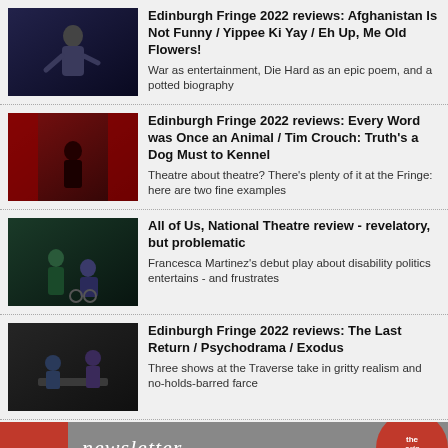Edinburgh Fringe 2022 reviews: Afghanistan Is Not Funny / Yippee Ki Yay / Eh Up, Me Old Flowers! — War as entertainment, Die Hard as an epic poem, and a potted biography
Edinburgh Fringe 2022 reviews: Every Word was Once an Animal / Tim Crouch: Truth's a Dog Must to Kennel — Theatre about theatre? There's plenty of it at the Fringe: here are two fine examples
All of Us, National Theatre review - revelatory, but problematic — Francesca Martinez's debut play about disability politics entertains - and frustrates
Edinburgh Fringe 2022 reviews: The Last Return / Psychodrama / Exodus — Three shows at the Traverse take in gritty realism and no-holds-barred farce
newsletter
Get a weekly digest of our critical highlights in your inbox each Thursday!